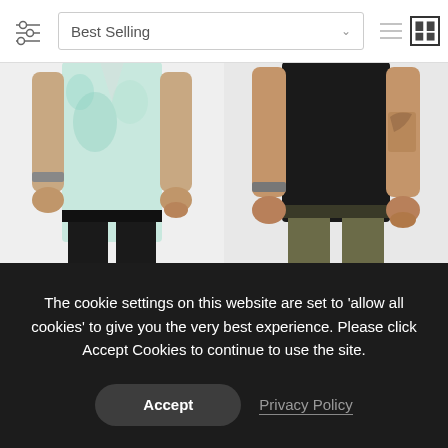[Figure (screenshot): E-commerce website toolbar with filter icon, Best Selling dropdown, and view toggle icons]
[Figure (photo): Product photo of Padua item - person wearing tie-dye top and black pants]
Padua
$ 120.00
[Figure (photo): Product photo of Siamak item - person wearing black top and olive/khaki pants]
Siamak
$ 95.00
The cookie settings on this website are set to 'allow all cookies' to give you the very best experience. Please click Accept Cookies to continue to use the site.
Accept
Privacy Policy